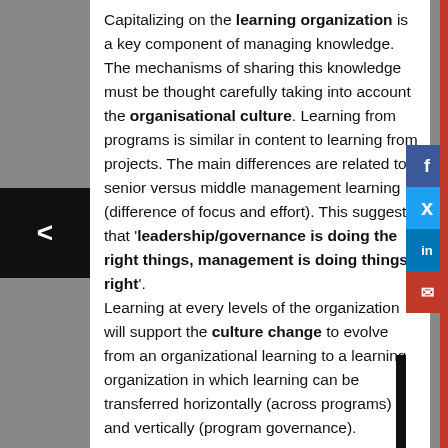Capitalizing on the learning organization is a key component of managing knowledge. The mechanisms of sharing this knowledge must be thought carefully taking into account the organisational culture. Learning from programs is similar in content to learning from projects. The main differences are related to senior versus middle management learning (difference of focus and effort). This suggests that 'leadership/governance is doing the right things, management is doing things right'.
Learning at every levels of the organization will support the culture change to evolve from an organizational learning to a learning organization in which learning can be transferred horizontally (across programs) and vertically (program governance).